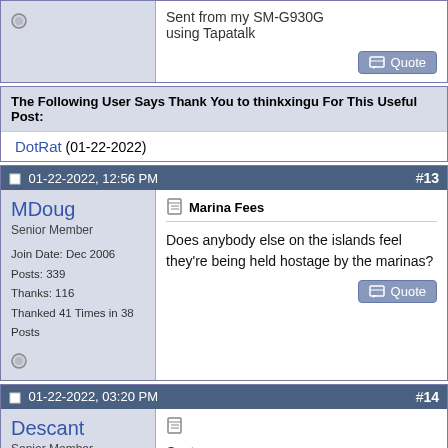Sent from my SM-G930G using Tapatalk
The Following User Says Thank You to thinkxingu For This Useful Post:
DotRat (01-22-2022)
01-22-2022, 12:56 PM #13
MDoug
Senior Member
Join Date: Dec 2006
Posts: 339
Thanks: 116
Thanked 41 Times in 38 Posts
Marina Fees
Does anybody else on the islands feel they're being held hostage by the marinas?
01-22-2022, 03:20 PM #14
Descant
Senior Member
Join Date: Mar 2006
Location: Merrimack and Welch Island
Posts: 3,459
Thanks: 1,005
Thanked 1,000 Times in 398 Posts
Quote: Originally Posted by MDoug - Does anybody else on the islands feel